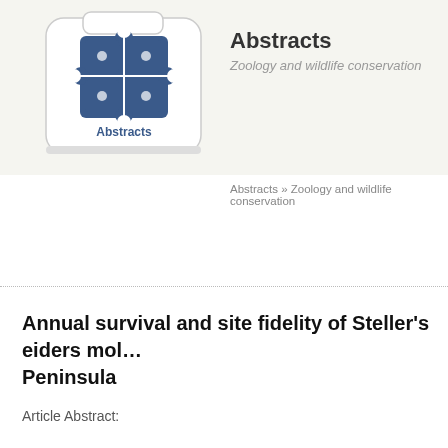[Figure (logo): Abstracts website logo: a key-like icon with puzzle pieces, labeled 'Abstracts' underneath]
Abstracts
Zoology and wildlife conservation
Abstracts » Zoology and wildlife conservation
Annual survival and site fidelity of Steller's eiders mol… Peninsula
Article Abstract: